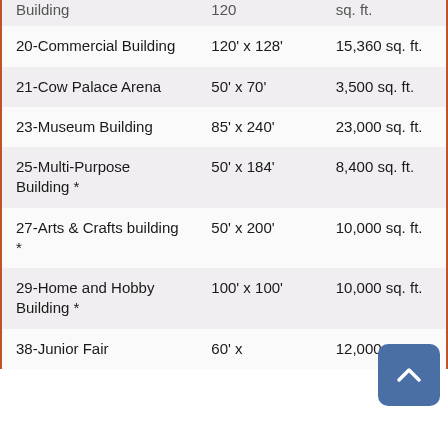| Building | Dimensions | Area |
| --- | --- | --- |
| Building | 120 | sq. ft. |
| 20-Commercial Building | 120' x 128' | 15,360 sq. ft. |
| 21-Cow Palace Arena | 50' x 70' | 3,500 sq. ft. |
| 23-Museum Building | 85' x 240' | 23,000 sq. ft. |
| 25-Multi-Purpose Building * | 50' x 184' | 8,400 sq. ft. |
| 27-Arts & Crafts building * | 50' x 200' | 10,000 sq. ft. |
| 29-Home and Hobby Building * | 100' x 100' | 10,000 sq. ft. |
| 38-Junior Fair | 60' x | 12,000 |